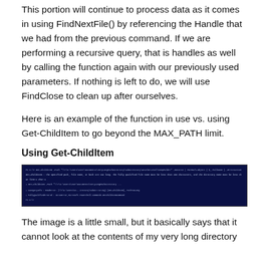This portion will continue to process data as it comes in using FindNextFile() by referencing the Handle that we had from the previous command. If we are performing a recursive query, that is handles as well by calling the function again with our previously used parameters. If nothing is left to do, we will use FindClose to clean up after ourselves.
Here is an example of the function in use vs. using Get-ChildItem to go beyond the MAX_PATH limit.
Using Get-ChildItem
[Figure (screenshot): A dark blue terminal/console window showing command output text in light blue/white monospace font, appearing to display an error or output related to directory listing.]
The image is a little small, but it basically says that it cannot look at the contents of my very long directory